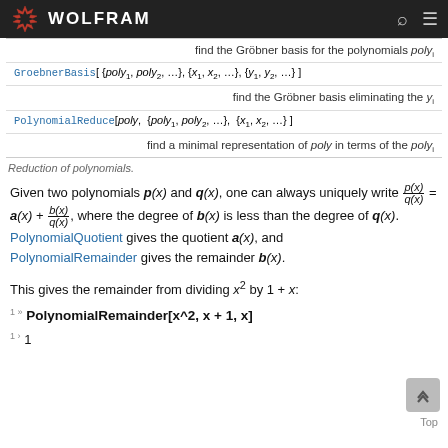WOLFRAM
| description | command |
| --- | --- |
| find the Gröbner basis for the polynomials poly_i | GroebnerBasis[{poly_1, poly_2, …}, {x_1, x_2, …}] |
| find the Gröbner basis eliminating the y_i | GroebnerBasis[{poly_1, poly_2, …}, {x_1, x_2, …}, {y_1, y_2, …}] |
| find a minimal representation of poly in terms of the poly_i | PolynomialReduce[poly, {poly_1, poly_2, …}, {x_1, x_2, …}] |
Reduction of polynomials.
Given two polynomials p(x) and q(x), one can always uniquely write p(x)/q(x) = a(x) + b(x)/q(x), where the degree of b(x) is less than the degree of q(x). PolynomialQuotient gives the quotient a(x), and PolynomialRemainder gives the remainder b(x).
This gives the remainder from dividing x^2 by 1 + x:
1» PolynomialRemainder[x^2, x+1, x]
1> 1